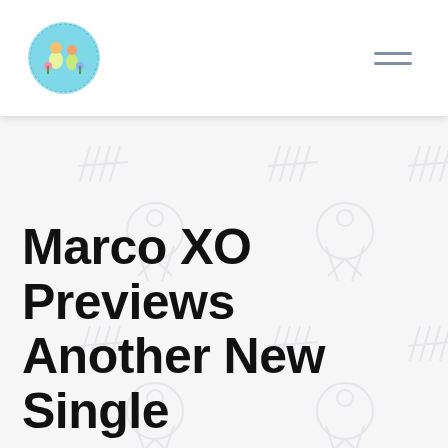[Figure (logo): Circular logo with light blue background, colorful cartoon illustration inside, small text around the border]
Marco XO Previews Another New Single